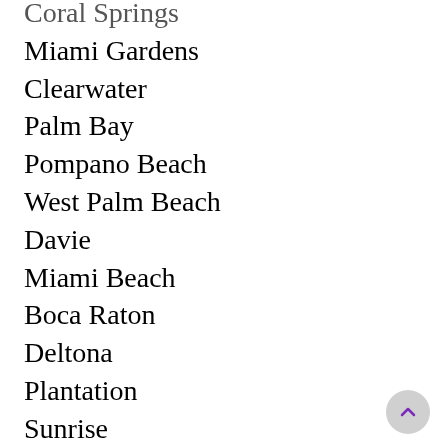Coral Springs
Miami Gardens
Clearwater
Palm Bay
Pompano Beach
West Palm Beach
Davie
Miami Beach
Boca Raton
Deltona
Plantation
Sunrise
Palm Coast
Largo
Deerfield Beach
Melbourne